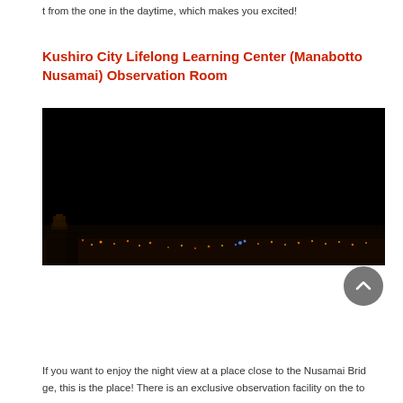t from the one in the daytime, which makes you excited!
Kushiro City Lifelong Learning Center (Manabotto Nusamai) Observation Room
[Figure (photo): Night panoramic view of Kushiro city lights from an observation room, wide dark sky above with scattered city lights visible along the bottom horizon]
If you want to enjoy the night view at a place close to the Nusamai Bridge, this is the place! There is an exclusive observation facility on the to